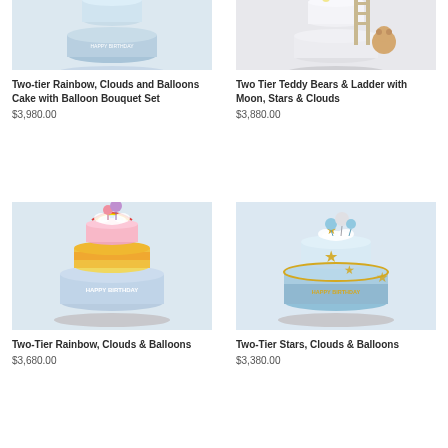[Figure (photo): Two-tier blue birthday cake with Happy Birthday text, partially cropped at top]
Two-tier Rainbow, Clouds and Balloons Cake with Balloon Bouquet Set
$3,980.00
[Figure (photo): Two-tier white cake with teddy bears and ladder, moon, stars and clouds decoration, partially cropped at top]
Two Tier Teddy Bears & Ladder with Moon, Stars & Clouds
$3,880.00
[Figure (photo): Two-tier rainbow gradient cake with rainbow, clouds and balloon toppers, Happy Birthday text on bottom tier]
Two-Tier Rainbow, Clouds & Balloons
$3,680.00
[Figure (photo): Two-tier blue ombre cake with star, clouds and balloon toppers, Happy Birthday text on bottom tier]
Two-Tier Stars, Clouds & Balloons
$3,380.00